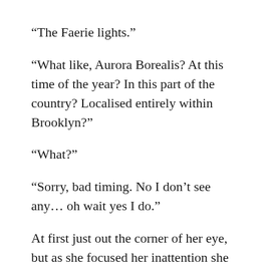“The Faerie lights.”
“What like, Aurora Borealis? At this time of the year? In this part of the country? Localised entirely within Brooklyn?”
“What?”
“Sorry, bad timing. No I don’t see any… oh wait yes I do.”
At first just out the corner of her eye, but as she focused her inattention she could see them. Not Aurora Borealis, but large columns of light at different points in the horizon, of all